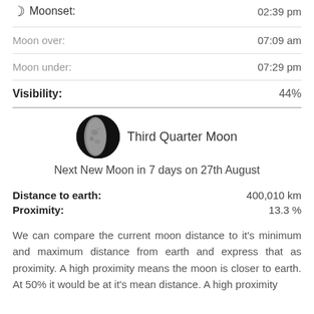Moonset: 02:39 pm
Moon over: 07:09 am
Moon under: 07:29 pm
Visibility: 44%
[Figure (photo): Third Quarter Moon phase image - circular photo of moon showing left half illuminated]
Third Quarter Moon
Next New Moon in 7 days on 27th August
Distance to earth: 400,010 km
Proximity: 13.3 %
We can compare the current moon distance to it's minimum and maximum distance from earth and express that as proximity. A high proximity means the moon is closer to earth. At 50% it would be at it's mean distance. A high proximity